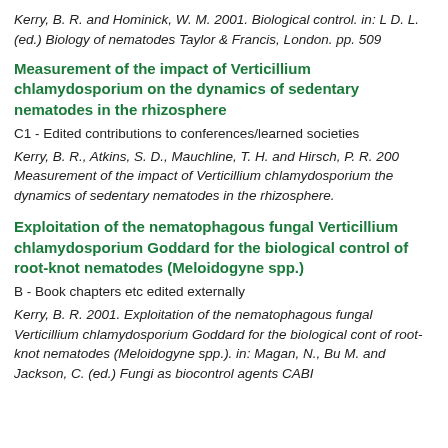Kerry, B. R. and Hominick, W. M. 2001. Biological control. in: L D. L. (ed.) Biology of nematodes Taylor & Francis, London. pp. 509
Measurement of the impact of Verticillium chlamydosporium on the dynamics of sedentary nematodes in the rhizosphere
C1 - Edited contributions to conferences/learned societies
Kerry, B. R., Atkins, S. D., Mauchline, T. H. and Hirsch, P. R. 200 Measurement of the impact of Verticillium chlamydosporium the dynamics of sedentary nematodes in the rhizosphere.
Exploitation of the nematophagous fungal Verticillium chlamydosporium Goddard for the biological control of root-knot nematodes (Meloidogyne spp.)
B - Book chapters etc edited externally
Kerry, B. R. 2001. Exploitation of the nematophagous fungal Verticillium chlamydosporium Goddard for the biological cont of root-knot nematodes (Meloidogyne spp.). in: Magan, N., Bu M. and Jackson, C. (ed.) Fungi as biocontrol agents CABI